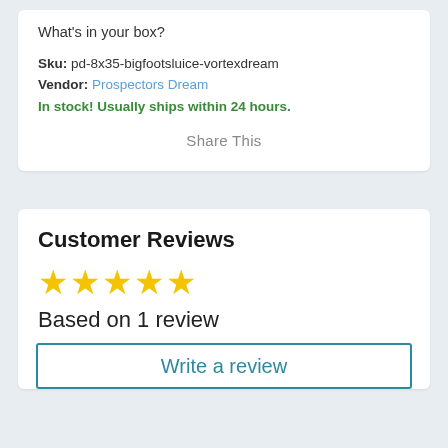What's in your box?
Sku: pd-8x35-bigfootsluice-vortexdream
Vendor: Prospectors Dream
In stock! Usually ships within 24 hours.
Share This
Customer Reviews
[Figure (other): Five gold star rating icons]
Based on 1 review
Write a review